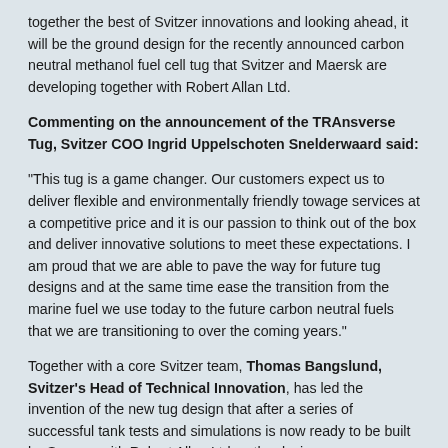together the best of Svitzer innovations and looking ahead, it will be the ground design for the recently announced carbon neutral methanol fuel cell tug that Svitzer and Maersk are developing together with Robert Allan Ltd.
Commenting on the announcement of the TRAnsverse Tug, Svitzer COO Ingrid Uppelschoten Snelderwaard said:
“This tug is a game changer. Our customers expect us to deliver flexible and environmentally friendly towage services at a competitive price and it is our passion to think out of the box and deliver innovative solutions to meet these expectations. I am proud that we are able to pave the way for future tug designs and at the same time ease the transition from the marine fuel we use today to the future carbon neutral fuels that we are transitioning to over the coming years.”
Together with a core Svitzer team, Thomas Bangslund, Svitzer’s Head of Technical Innovation, has led the invention of the new tug design that after a series of successful tank tests and simulations is now ready to be built by Sanmar with Robert Allan Ltd as the designer.
“It is highly rewarding to see this multipurpose and very versatile tug become a reality. It started as a wish to improve efficiency in